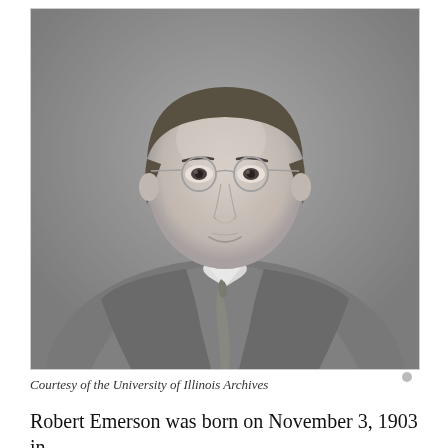[Figure (photo): Black and white portrait photograph of Robert Emerson, a young man wearing round wire-rimmed glasses, a suit jacket, white collared shirt and tie, looking slightly to the side with a slight smile. Appears to be a formal academic portrait.]
Courtesy of the University of Illinois Archives
Robert Emerson was born on November 3, 1903 in